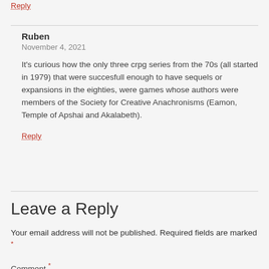Reply
Ruben
November 4, 2021
It’s curious how the only three crpg series from the 70s (all started in 1979) that were succesfull enough to have sequels or expansions in the eighties, were games whose authors were members of the Society for Creative Anachronisms (Eamon, Temple of Apshai and Akalabeth).
Reply
Leave a Reply
Your email address will not be published. Required fields are marked *
Comment *